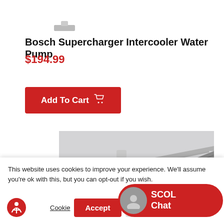[Figure (photo): Small thumbnail of product at top]
Bosch Supercharger Intercooler Water Pump
$194.99
[Figure (photo): Photo of an intercooler/radiator component, diagonal view showing fins and metal construction]
This website uses cookies to improve your experience. We'll assume you're ok with this, but you can opt-out if you wish.
Cookie Settings   Accept   Reject All